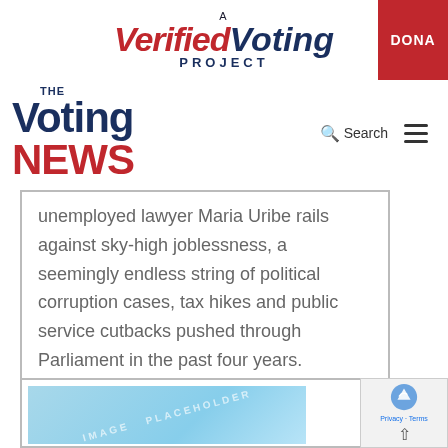[Figure (logo): A Verified Voting Project logo with red 'Verified' text and dark blue 'Voting' text in italic, plus PROJECT in dark blue caps, with a red DONATE button on the right]
[Figure (logo): The Voting News logo — dark blue 'THE' above large 'Voting' in dark blue and 'NEWS' in red, with Search and hamburger menu on the right]
unemployed lawyer Maria Uribe rails against sky-high joblessness, a seemingly endless string of political corruption cases, tax hikes and public service cutbacks pushed through Parliament in the past four years.
[Figure (photo): Image placeholder with light blue gradient background showing watermarked placeholder text]